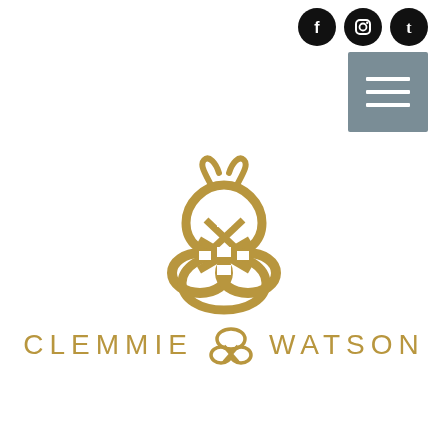[Figure (other): Three circular social media icons (Facebook, Instagram, Tumblr) in black with white symbols, top right corner]
[Figure (other): Grey hamburger/menu button with three white horizontal lines, top right below social icons]
[Figure (logo): Clemmie Watson logo: gold/amber Celtic knot symbol resembling an ornate interlaced figure-8 design, with text 'CLEMMIE' on the left and 'WATSON' on the right in gold spaced uppercase letters]